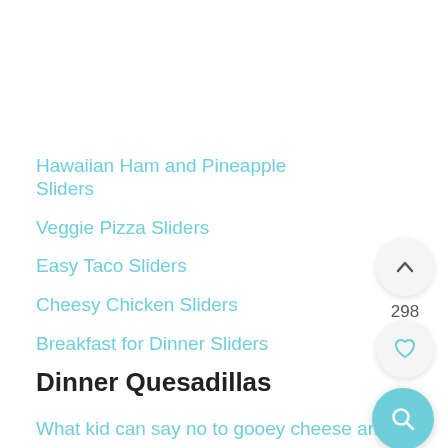Hawaiian Ham and Pineapple Sliders
Veggie Pizza Sliders
Easy Taco Sliders
Cheesy Chicken Sliders
Breakfast for Dinner Sliders
Dinner Quesadillas
What kid can say no to gooey cheese and loads of flavorful toppings sandwiched in between two crisp,